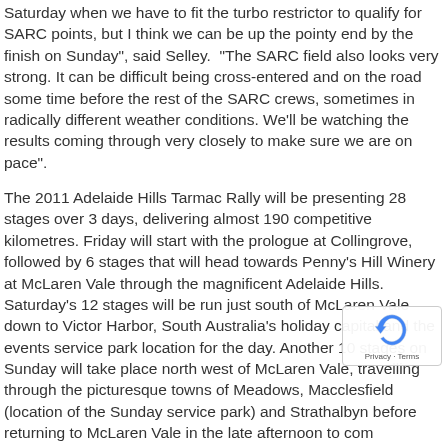Saturday when we have to fit the turbo restrictor to qualify for SARC points, but I think we can be up the pointy end by the finish on Sunday", said Selley.  "The SARC field also looks very strong. It can be difficult being cross-entered and on the road some time before the rest of the SARC crews, sometimes in radically different weather conditions. We'll be watching the results coming through very closely to make sure we are on pace".
The 2011 Adelaide Hills Tarmac Rally will be presenting 28 stages over 3 days, delivering almost 190 competitive kilometres. Friday will start with the prologue at Collingrove, followed by 6 stages that will head towards Penny's Hill Winery at McLaren Vale through the magnificent Adelaide Hills. Saturday's 12 stages will be run just south of McLaren Vale down to Victor Harbor, South Australia's holiday capital and the events service park location for the day. Another 10 stages on Sunday will take place north west of McLaren Vale, travelling through the picturesque towns of Meadows, Macclesfield (location of the Sunday service park) and Strathalbyn before returning to McLaren Vale in the late afternoon to complete the event at Penny's Hill Winery.
Entries have officially opened with the release of